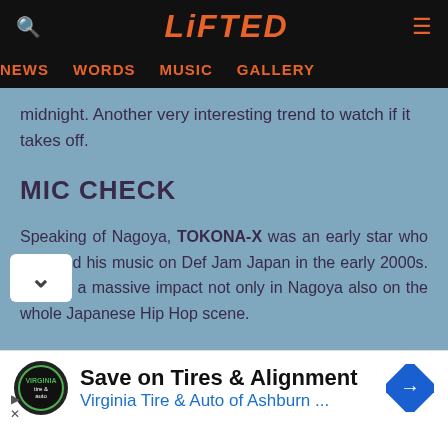LiFTED | NEWS | WORDS | MUSIC | GALLERY
midnight. Another very interesting trend to watch if it takes off.
MIC CHECK
Speaking of Nagoya, TOKONA-X was an early star who released his music on Def Jam Japan in the early 2000s. He had a massive impact not only in Nagoya also on the whole Japanese Hip Hop scene.
[Figure (screenshot): Advertisement banner: Save on Tires & Alignment — Virginia Tire & Auto of Ashburn ...]